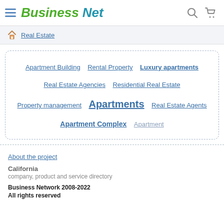Business Net
Real Estate
Apartment Building
Rental Property
Luxury apartments
Real Estate Agencies
Residential Real Estate
Property management
Apartments
Real Estate Agents
Apartment Complex
Apartment
About the project
California
company, product and service directory
Business Network 2008-2022
All rights reserved